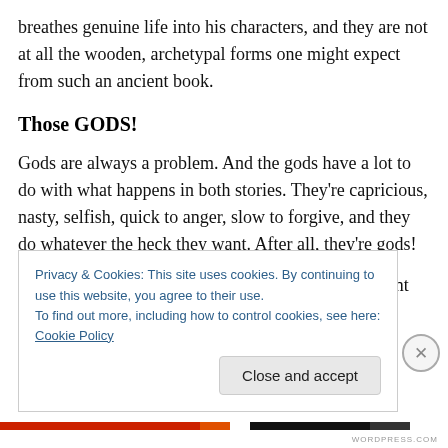breathes genuine life into his characters, and they are not at all the wooden, archetypal forms one might expect from such an ancient book.
Those GODS!
Gods are always a problem. And the gods have a lot to do with what happens in both stories. They're capricious, nasty, selfish, quick to anger, slow to forgive, and they do whatever the heck they want. After all, they're gods!
Here. there may be a lesson for us into how an ancient
Privacy & Cookies: This site uses cookies. By continuing to use this website, you agree to their use.
To find out more, including how to control cookies, see here: Cookie Policy
Close and accept